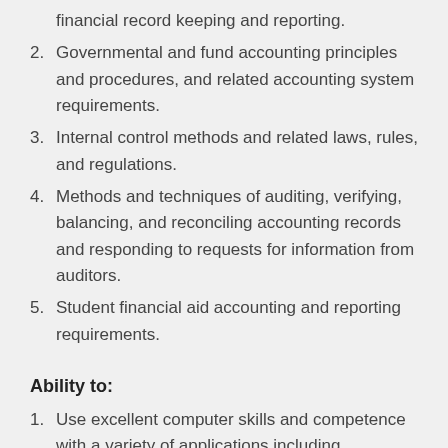financial record keeping and reporting.
Governmental and fund accounting principles and procedures, and related accounting system requirements.
Internal control methods and related laws, rules, and regulations.
Methods and techniques of auditing, verifying, balancing, and reconciling accounting records and responding to requests for information from auditors.
Student financial aid accounting and reporting requirements.
Ability to:
Use excellent computer skills and competence with a variety of applications including spreadsheets, word processing, databases, internet and complex financial